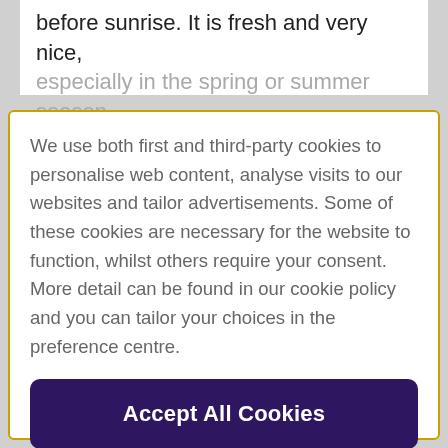before sunrise. It is fresh and very nice, especially in the spring or summer season
We use both first and third-party cookies to personalise web content, analyse visits to our websites and tailor advertisements. Some of these cookies are necessary for the website to function, whilst others require your consent. More detail can be found in our cookie policy and you can tailor your choices in the preference centre.
Accept All Cookies
Cookies Settings